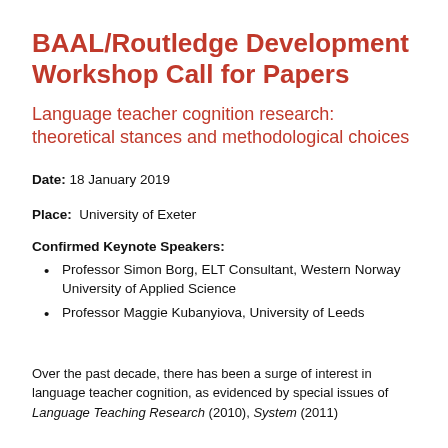BAAL/Routledge Development Workshop Call for Papers
Language teacher cognition research: theoretical stances and methodological choices
Date: 18 January 2019
Place: University of Exeter
Confirmed Keynote Speakers:
Professor Simon Borg, ELT Consultant, Western Norway University of Applied Science
Professor Maggie Kubanyiova, University of Leeds
Over the past decade, there has been a surge of interest in language teacher cognition, as evidenced by special issues of Language Teaching Research (2010), System (2011)